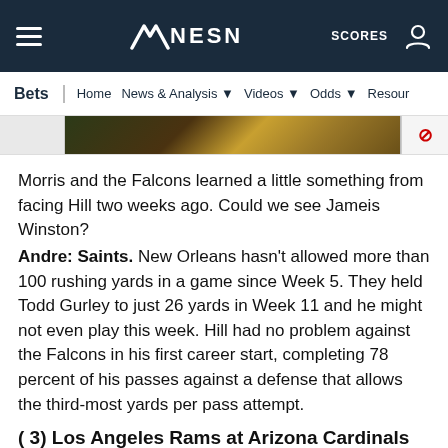NESN — Bets | Home | News & Analysis | Videos | Odds | Resources
[Figure (screenshot): Partial banner/advertisement image with gold and dark green design]
Morris and the Falcons learned a little something from facing Hill two weeks ago. Could we see Jameis Winston?
Andre: Saints. New Orleans hasn't allowed more than 100 rushing yards in a game since Week 5. They held Todd Gurley to just 26 yards in Week 11 and he might not even play this week. Hill had no problem against the Falcons in his first career start, completing 78 percent of his passes against a defense that allows the third-most yards per pass attempt.
( 3) Los Angeles Rams at Arizona Cardinals